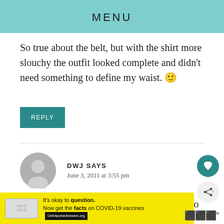MENU
So true about the belt, but with the shirt more slouchy the outfit looked complete and didn't need something to define my waist. 🙂
REPLY
DWJ SAYS
June 3, 2011 at 3:55 pm
You know I love that shirt, since I own it too 🙂 And happy anniversary!
[Figure (infographic): COVID-19 vaccine advertisement banner: It's okay to question. Now get the facts on COVID-19 vaccines. GetVaccineAnswers.org]